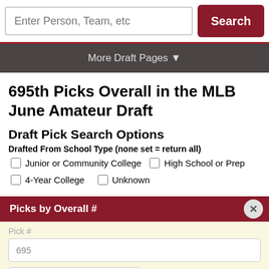Enter Person, Team, etc  Search
More Draft Pages ▼
695th Picks Overall in the MLB June Amateur Draft
Draft Pick Search Options
Drafted From School Type (none set = return all)
Junior or Community College
High School or Prep
4-Year College
Unknown
Picks by Overall #
Pick #
695
June